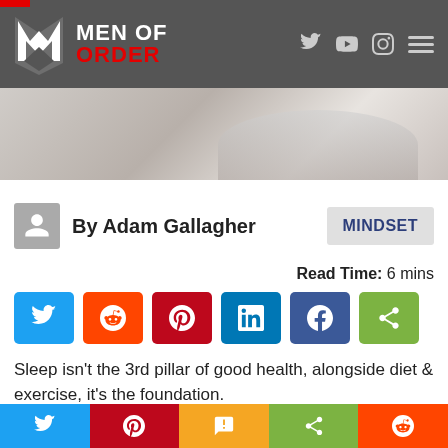MEN OF ORDER — navigation header with logo and social icons
[Figure (photo): Blurred hero image of a person sleeping, light grey tones]
By Adam Gallagher
MINDSET
Read Time: 6 mins
[Figure (infographic): Social share buttons: Twitter, Reddit, Pinterest, LinkedIn, Facebook, Share]
Sleep isn't the 3rd pillar of good health, alongside diet & exercise, it's the foundation.
Dr. Matthew Walker
Bottom share bar: Twitter, Pinterest, SMS, Share, Reddit